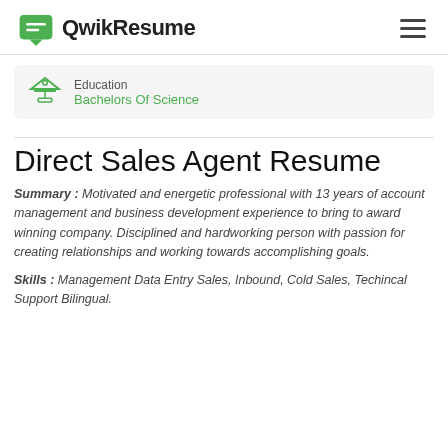QwikResume
[Figure (logo): QwikResume logo with green speech bubble icon and bold text 'QwikResume']
Education
Bachelors Of Science
Direct Sales Agent Resume
Summary : Motivated and energetic professional with 13 years of account management and business development experience to bring to award winning company. Disciplined and hardworking person with passion for creating relationships and working towards accomplishing goals.
Skills : Management Data Entry Sales, Inbound, Cold Sales, Techincal Support Bilingual.